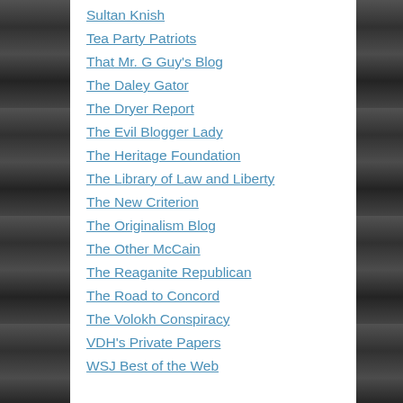Sultan Knish
Tea Party Patriots
That Mr. G Guy's Blog
The Daley Gator
The Dryer Report
The Evil Blogger Lady
The Heritage Foundation
The Library of Law and Liberty
The New Criterion
The Originalism Blog
The Other McCain
The Reaganite Republican
The Road to Concord
The Volokh Conspiracy
VDH's Private Papers
WSJ Best of the Web